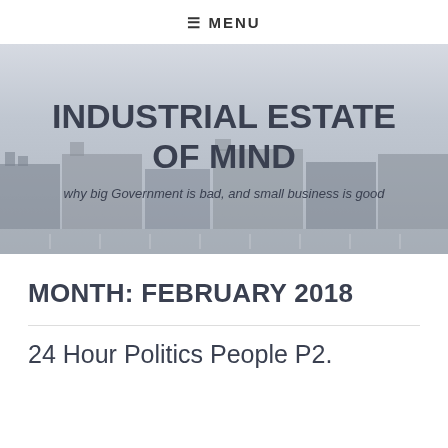☰ MENU
INDUSTRIAL ESTATE OF MIND
why big Government is bad, and small business is good
MONTH: FEBRUARY 2018
24 Hour Politics People P2.